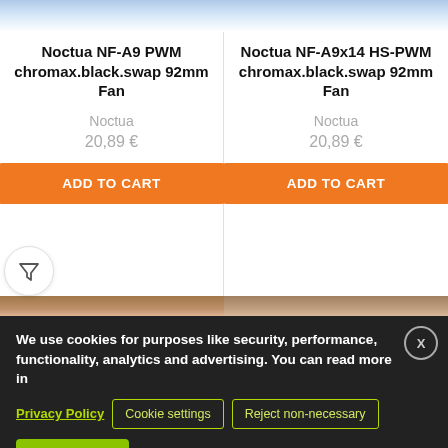Noctua NF-A9 PWM chromax.black.swap 92mm Fan
Noctua
20,89 €
ADD TO CART
Noctua NF-A9x14 HS-PWM chromax.black.swap 92mm Fan
Noctua
20,89 €
ADD TO CART
We use cookies for purposes like security, performance, functionality, analytics and advertising. You can read more in
Privacy Policy
Cookie settings
Reject non-necessary
ACCEPT